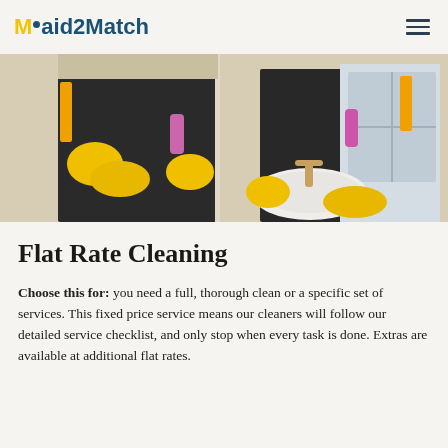Maid2Match
[Figure (photo): Two cleaners in black uniforms with yellow gloves cleaning a bathroom sink and mirror]
Flat Rate Cleaning
Choose this for: you need a full, thorough clean or a specific set of services. This fixed price service means our cleaners will follow our detailed service checklist, and only stop when every task is done. Extras are available at additional flat rates.